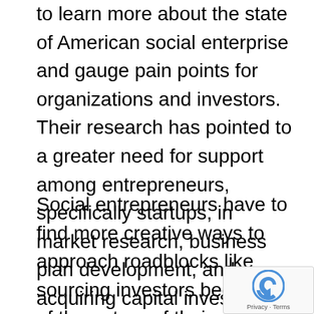to learn more about the state of American social enterprise and gauge pain points for organizations and investors. Their research has pointed to a greater need for support among entrepreneurs, specifically startups, in market research, business plan development, and acquiring capital investment.
Social entrepreneurs have to find more creative ways to approach roadblocks like sourcing investors because of the nature of their business models. In lieu of pitching conventional banks, many seek out incubators, grants, or corporate angel investors. Although this tactic has proven successful in cases such as Charity:Water, entrepreneurs have to make sure that they don't